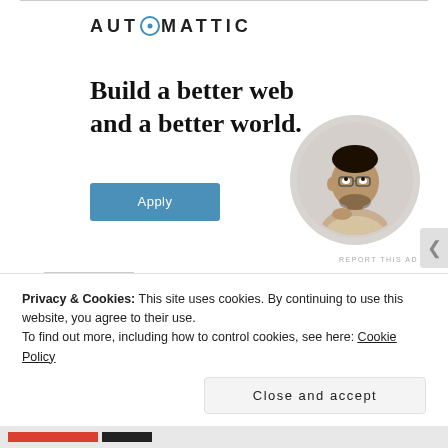[Figure (logo): Automattic company logo with stylized O]
Build a better web and a better world.
[Figure (photo): Circular portrait photo of a man looking thoughtfully upward, resting chin on hand, at a desk]
REPORT THIS AD
Share this:
Privacy & Cookies: This site uses cookies. By continuing to use this website, you agree to their use. To find out more, including how to control cookies, see here: Cookie Policy